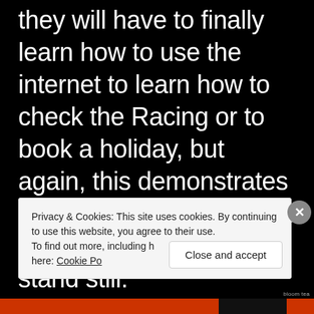they will have to finally learn how to use the internet to learn how to check the Racing or to book a holiday, but again, this demonstrates the evolution of tech, and how things just never stand still.
Privacy & Cookies: This site uses cookies. By continuing to use this website, you agree to their use.
To find out more, including how to control cookies, see here: Cookie Po[licy]